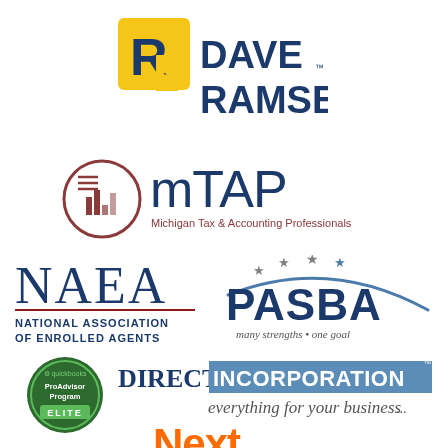[Figure (logo): Dave Ramsey logo — yellow square with stylized R icon and dark blue DAVE RAMSEY text]
[Figure (logo): MTAP logo — circular icon with lines and Michigan Tax & Accounting Professionals text in dark navy and dark red]
[Figure (logo): NAEA logo — National Association of Enrolled Agents in dark navy and dark red]
[Figure (logo): PASBA logo — many strengths one goal with stars arc in navy and steel blue]
[Figure (logo): QuickBooks ProAdvisor Program Elite badge — dark green circular badge]
[Figure (logo): Direct Incorporation logo — everything for your business tagline]
[Figure (logo): Next logo — orange bold text partially visible at bottom]